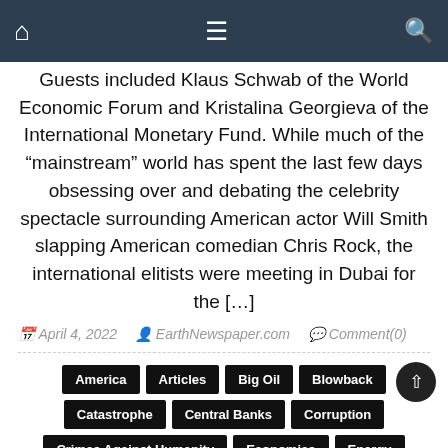Home | Menu | Search
Guests included Klaus Schwab of the World Economic Forum and Kristalina Georgieva of the International Monetary Fund. While much of the “mainstream” world has spent the last few days obsessing over and debating the celebrity spectacle surrounding American actor Will Smith slapping American comedian Chris Rock, the international elitists were meeting in Dubai for the […]
April 4, 2022  EarthNewspaper.com  Comment(0)
America
Articles
Big Oil
Blowback
Catastrophe
Central Banks
Corruption
Crimes Against Humanity
Economics
Energy
Europe
Finance
Freedom And Liberty
Geopolitical
Jews
Journalism
Money
Political
Sanctions
Talmud
Theft
They Live
Ukraine